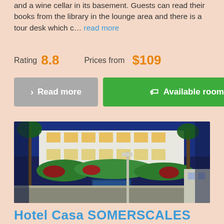and a wine cellar in its basement. Guests can read their books from the library in the lounge area and there is a tour desk which c… read more
Rating 8.8    Prices from $109
Read more   Available rooms
[Figure (photo): Nighttime exterior photo of a hotel building with illuminated windows, tropical vegetation, ornate architecture, and lit entrance gate]
Hotel Casa SOMERSCALES